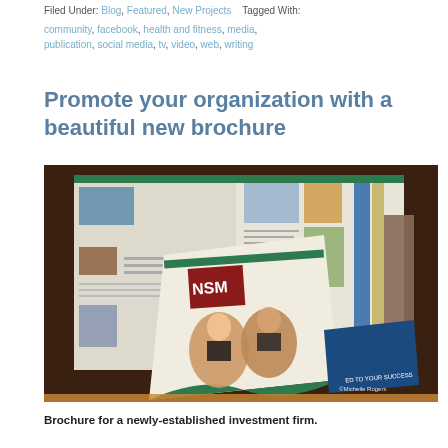Filed Under: Blog, Featured, New Projects   Tagged With:
community, facebook, health and fitness, media, publication, social media, tv, video, web, writing
Promote your organization with a beautiful new brochure
[Figure (photo): Photo of multiple brochures and publications spread out on a wooden table, including one with NSM logo, showing a woman and a man on the cover. Copyright Michelle Rogers.]
Brochure for a newly-established investment firm.